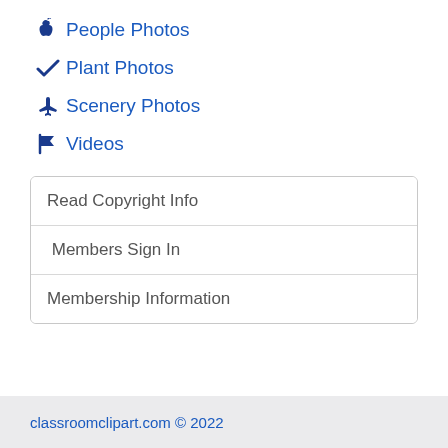People Photos
Plant Photos
Scenery Photos
Videos
| Read Copyright Info |
| Members Sign In |
| Membership Information |
classroomclipart.com © 2022